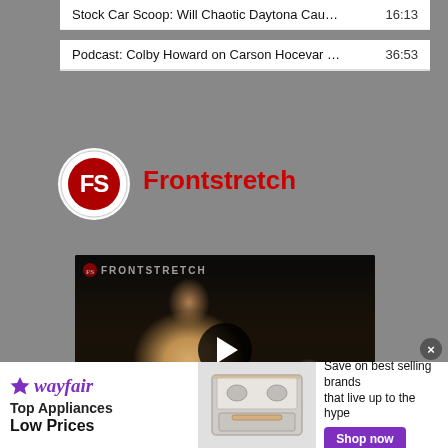Stock Car Scoop: Will Chaotic Daytona Cau... 16:13
Podcast: Colby Howard on Carson Hocevar ... 36:53
[Figure (logo): Frontstretch logo - circular white badge with FS text in red and black]
Frontstretch
[Figure (screenshot): Video thumbnail showing a man being interviewed at a racing event at night with crowd in background. FRONTSTRETCH watermark visible. Play button overlay in center.]
[Figure (infographic): Wayfair advertisement banner: Top Appliances Low Prices - Save on best selling brands that live up to the hype - Shop now button]